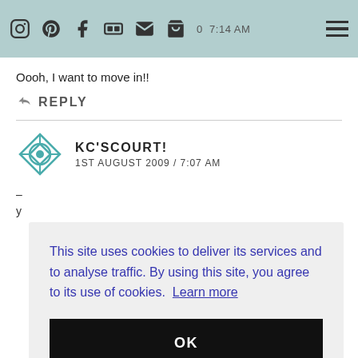Header bar with social icons (Instagram, Pinterest, Facebook, Flickr, Email, Cart) and time, hamburger menu
Oooh, I want to move in!!
↩ REPLY
KC'SCOURT!
1ST AUGUST 2009 / 7:07 AM
This site uses cookies to deliver its services and to analyse traffic. By using this site, you agree to its use of cookies. Learn more
OK